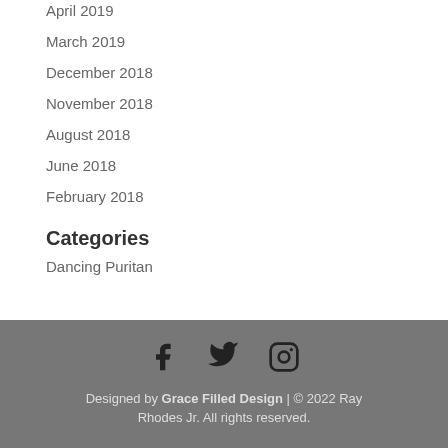April 2019
March 2019
December 2018
November 2018
August 2018
June 2018
February 2018
Categories
Dancing Puritan
Designed by Grace Filled Design | © 2022 Ray Rhodes Jr. All rights reserved.